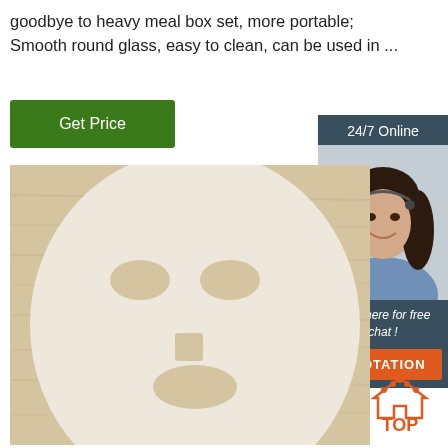goodbye to heavy meal box set, more portable; Smooth round glass, easy to clean, can be used in ...
[Figure (other): Green 'Get Price' button]
[Figure (other): Sidebar panel with '24/7 Online' label, customer service representative photo, 'Click here for free chat!' text, and orange QUOTATION button]
[Figure (photo): Photo of a white facial sheet mask laid flat on a light wood surface, showing cut-outs for eyes, nose, and mouth]
[Figure (logo): TOP logo with orange house icon and 'TOP' text in orange]